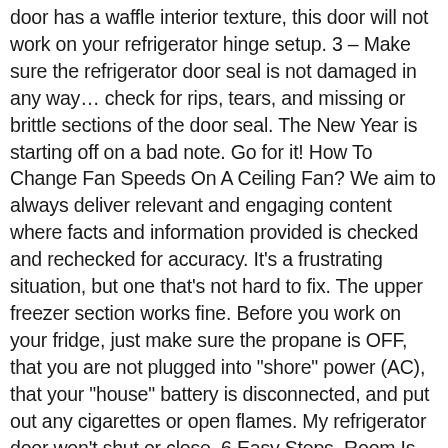door has a waffle interior texture, this door will not work on your refrigerator hinge setup. 3 – Make sure the refrigerator door seal is not damaged in any way… check for rips, tears, and missing or brittle sections of the door seal. The New Year is starting off on a bad note. Go for it! How To Change Fan Speeds On A Ceiling Fan? We aim to always deliver relevant and engaging content where facts and information provided is checked and rechecked for accuracy. It's a frustrating situation, but one that's not hard to fix. The upper freezer section works fine. Before you work on your fridge, just make sure the propane is OFF, that you are not plugged into "shore" power (AC), that your "house" battery is disconnected, and put out any cigarettes or open flames. My refrigerator door won't shut or close. 6 Easy Steps. Room Is Hot With New Window AC Running – 10 Helpful Cooling Tips. Where Is The Freezer Drain Hole In My Fridge? What Do The Numbers Mean In Surround Sound? How To Fix A Slow Remote Control With A Cable Box? (adsbygoogle = window.adsbygoogle || []).push({});My refrigerator door won't